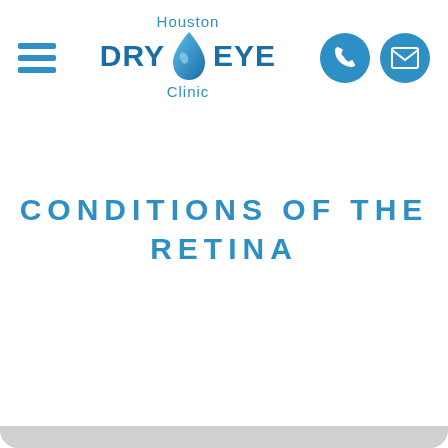[Figure (logo): Houston Dry Eye Clinic logo with water drop icon, hamburger menu, phone and email contact icons]
CONDITIONS OF THE RETINA